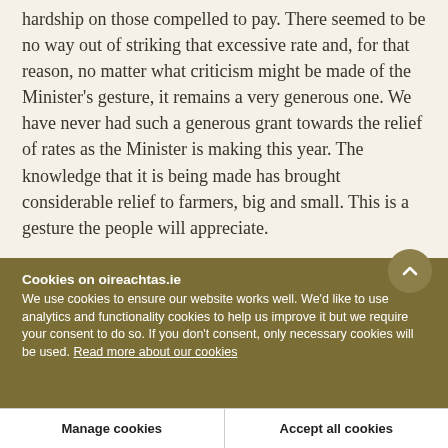hardship on those compelled to pay. There seemed to be no way out of striking that excessive rate and, for that reason, no matter what criticism might be made of the Minister's gesture, it remains a very generous one. We have never had such a generous grant towards the relief of rates as the Minister is making this year. The knowledge that it is being made has brought considerable relief to farmers, big and small. This is a gesture the people will appreciate.
Cookies on oireachtas.ie
We use cookies to ensure our website works well. We'd like to use analytics and functionality cookies to help us improve it but we require your consent to do so. If you don't consent, only necessary cookies will be used. Read more about our cookies
Manage cookies
Accept all cookies